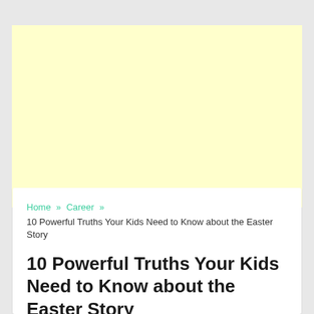[Figure (other): Yellow advertisement placeholder block]
17 August 2018
Home » Career » 10 Powerful Truths Your Kids Need to Know about the Easter Story
10 Powerful Truths Your Kids Need to Know about the Easter Story